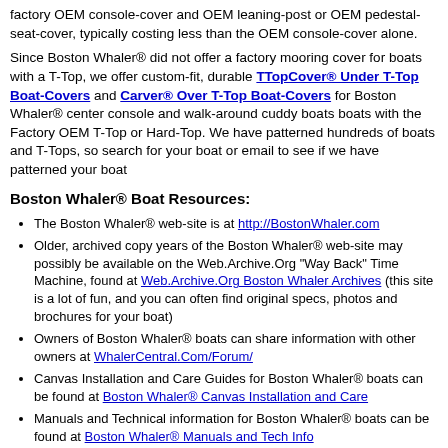factory OEM console-cover and OEM leaning-post or OEM pedestal-seat-cover, typically costing less than the OEM console-cover alone.
Since Boston Whaler® did not offer a factory mooring cover for boats with a T-Top, we offer custom-fit, durable TTopCover® Under T-Top Boat-Covers and Carver® Over T-Top Boat-Covers for Boston Whaler® center console and walk-around cuddy boats boats with the Factory OEM T-Top or Hard-Top. We have patterned hundreds of boats and T-Tops, so search for your boat or email to see if we have patterned your boat
Boston Whaler® Boat Resources:
The Boston Whaler® web-site is at http://BostonWhaler.com
Older, archived copy years of the Boston Whaler® web-site may possibly be available on the Web.Archive.Org "Way Back" Time Machine, found at Web.Archive.Org Boston Whaler Archives (this site is a lot of fun, and you can often find original specs, photos and brochures for your boat)
Owners of Boston Whaler® boats can share information with other owners at WhalerCentral.Com/Forum/
Canvas Installation and Care Guides for Boston Whaler® boats can be found at Boston Whaler® Canvas Installation and Care
Manuals and Technical information for Boston Whaler® boats can be found at Boston Whaler® Manuals and Tech Info
Links to FREE Outboard Motor Manuals and Owners Guides can be found at RNR-Marine.com/Boat-Motor-Transmission-Manuals.shtml